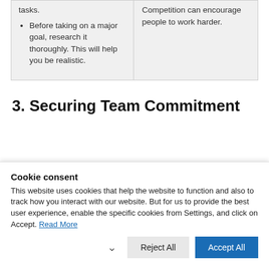tasks.
Before taking on a major goal, research it thoroughly. This will help you be realistic.
Competition can encourage people to work harder.
3. Securing Team Commitment
Cookie consent
This website uses cookies that help the website to function and also to track how you interact with our website. But for us to provide the best user experience, enable the specific cookies from Settings, and click on Accept. Read More